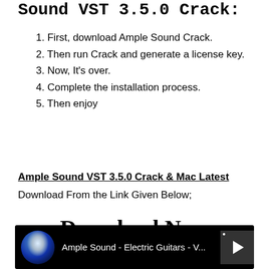Sound VST 3.5.0 Crack:
1. First, download Ample Sound Crack.
2. Then run Crack and generate a license key.
3. Now, It's over.
4. Complete the installation process.
5. Then enjoy
Ample Sound VST 3.5.0 Crack & Mac Latest
Download From the Link Given Below;
Download Now
[Figure (screenshot): YouTube video thumbnail showing 'Ample Sound - Electric Guitars - V...' with a dark background, a circular avatar of a person lit in blue, and a play button on the right.]